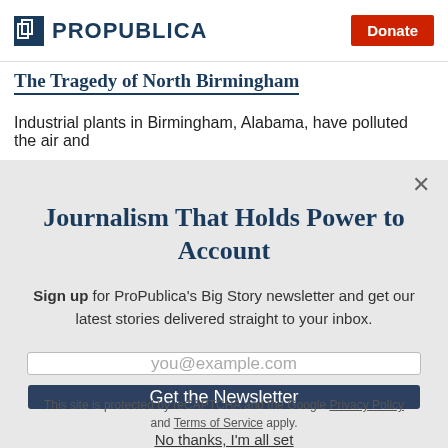ProPublica | Donate
The Tragedy of North Birmingham
Industrial plants in Birmingham, Alabama, have polluted the air and harmed its Black communities for generations.
Journalism That Holds Power to Account
Sign up for ProPublica's Big Story newsletter and get our latest stories delivered straight to your inbox.
you@example.com
Get the Newsletter
No thanks, I'm all set
This site is protected by reCAPTCHA and the Google Privacy Policy and Terms of Service apply.